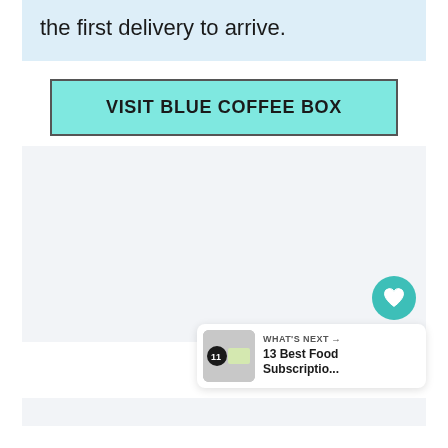the first delivery to arrive.
VISIT BLUE COFFEE BOX
[Figure (screenshot): Large light grey placeholder content box with a teal heart icon button and a white share icon button on the right side, and a 'WHAT'S NEXT' card at the bottom right showing '13 Best Food Subscriptio...']